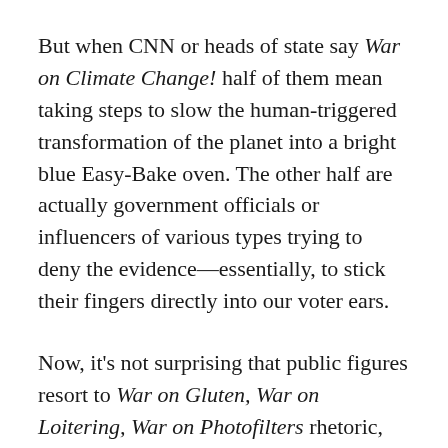But when CNN or heads of state say War on Climate Change! half of them mean taking steps to slow the human-triggered transformation of the planet into a bright blue Easy-Bake oven. The other half are actually government officials or influencers of various types trying to deny the evidence—essentially, to stick their fingers directly into our voter ears.
Now, it's not surprising that public figures resort to War on Gluten, War on Loitering, War on Photofilters rhetoric, because that language evokes all sorts of things many of us think of, vaguely, as laudable. War in this context means a total commit! Big resources! Much serious